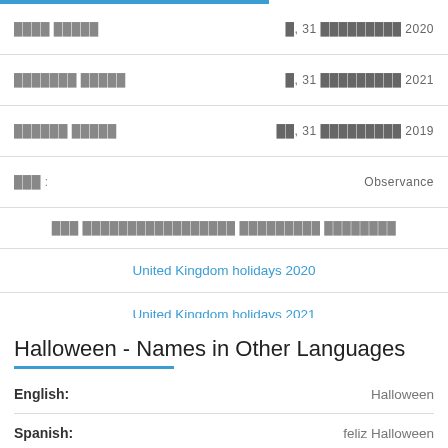| ████ █████ | █, 31 █████████ 2020 |
| ███████ █████ | █, 31 █████████ 2021 |
| ██████ █████ | ██, 31 █████████ 2019 |
| ███ : | Observance |
| ███ █████████████████ █████████ ████████ |  |
| United Kingdom holidays 2020 |  |
| United Kingdom holidays 2021 |  |
Halloween - Names in Other Languages
| Language | Name |
| --- | --- |
| English: | Halloween |
| Spanish: | feliz Halloween |